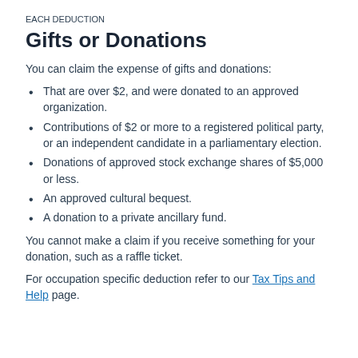EACH DEDUCTION
Gifts or Donations
You can claim the expense of gifts and donations:
That are over $2, and were donated to an approved organization.
Contributions of $2 or more to a registered political party, or an independent candidate in a parliamentary election.
Donations of approved stock exchange shares of $5,000 or less.
An approved cultural bequest.
A donation to a private ancillary fund.
You cannot make a claim if you receive something for your donation, such as a raffle ticket.
For occupation specific deduction refer to our Tax Tips and Help page.